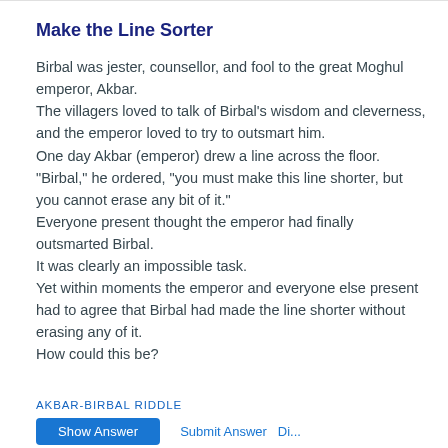Make the Line Sorter
Birbal was jester, counsellor, and fool to the great Moghul emperor, Akbar.
The villagers loved to talk of Birbal's wisdom and cleverness,
and the emperor loved to try to outsmart him.
One day Akbar (emperor) drew a line across the floor.
"Birbal," he ordered, "you must make this line shorter, but you cannot erase any bit of it."
Everyone present thought the emperor had finally outsmarted Birbal.
It was clearly an impossible task.
Yet within moments the emperor and everyone else present had to agree that Birbal had made the line shorter without erasing any of it.
How could this be?
AKBAR-BIRBAL RIDDLE